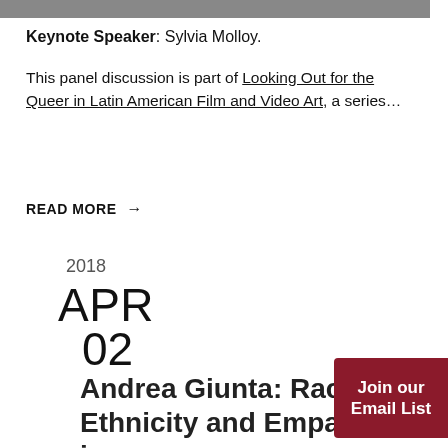[Figure (photo): Partial photo strip at top of page showing people]
Keynote Speaker: Sylvia Molloy.
This panel discussion is part of Looking Out for the Queer in Latin American Film and Video Art, a series...
READ MORE →
2018
APR
02
Andrea Giunta: Race, Ethnicity and Empathy in Latin American W...
Join our Email List